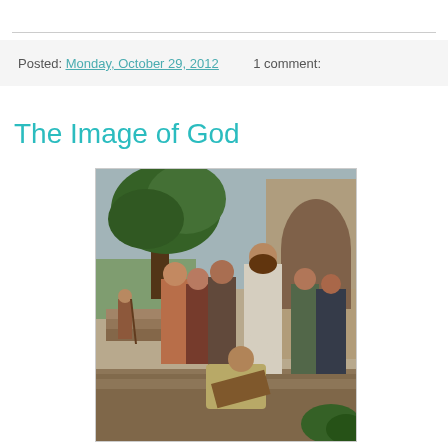Posted: Monday, October 29, 2012   1 comment:
The Image of God
[Figure (illustration): A religious illustration depicting Jesus healing a blind man, surrounded by several disciples. A figure walks away in the background near stone steps and a tree.]